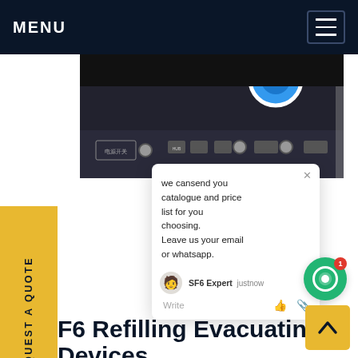MENU
[Figure (photo): Top-down view of SF6 gas handling equipment panel with knobs, ports, and a blue circular element]
we cansend you catalogue and price list for you choosing. Leave us your email or whatsapp.
SF6 Expert  justnow
Write
F6 Refilling Evacuating Devices
[Figure (photo): Bottom portion of SF6 refilling evacuating device with red hoses visible]